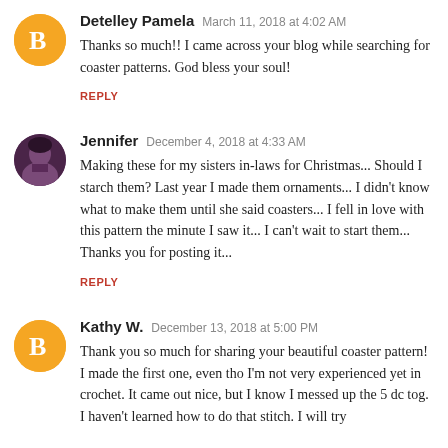Detelley Pamela  March 11, 2018 at 4:02 AM
Thanks so much!! I came across your blog while searching for coaster patterns. God bless your soul!
REPLY
Jennifer  December 4, 2018 at 4:33 AM
Making these for my sisters in-laws for Christmas... Should I starch them? Last year I made them ornaments... I didn't know what to make them until she said coasters... I fell in love with this pattern the minute I saw it... I can't wait to start them... Thanks you for posting it...
REPLY
Kathy W.  December 13, 2018 at 5:00 PM
Thank you so much for sharing your beautiful coaster pattern! I made the first one, even tho I'm not very experienced yet in crochet. It came out nice, but I know I messed up the 5 dc tog. I haven't learned how to do that stitch. I will try